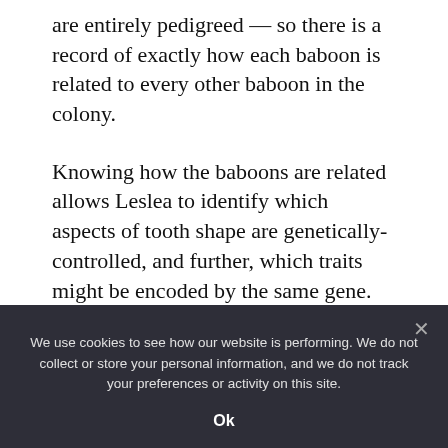are entirely pedigreed — so there is a record of exactly how each baboon is related to every other baboon in the colony.
Knowing how the baboons are related allows Leslea to identify which aspects of tooth shape are genetically-controlled, and further, which traits might be encoded by the same gene. For tooth traits that are genetic, close relatives will resemble each other more than distant relatives. And tooth
We use cookies to see how our website is performing. We do not collect or store your personal information, and we do not track your preferences or activity on this site.
Ok